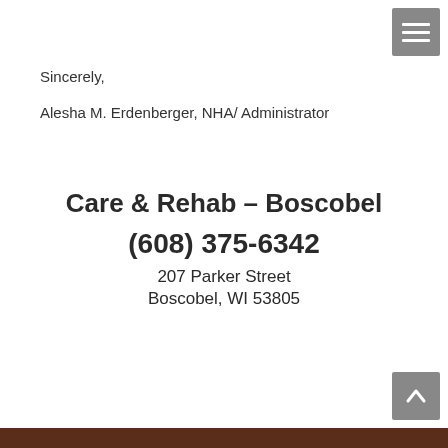Sincerely,
Alesha M. Erdenberger, NHA/ Administrator
Care & Rehab – Boscobel
(608) 375-6342
207 Parker Street
Boscobel, WI 53805